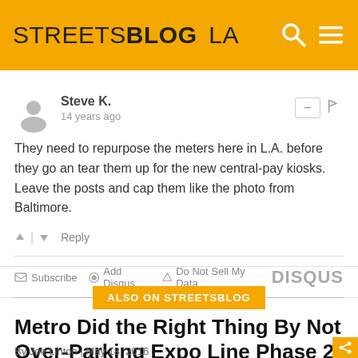STREETSBLOG LA
Steve K.
14 years ago
They need to repurpose the meters here in L.A. before they go an tear them up for the new central-pay kiosks. Leave the posts and cap them like the photo from Baltimore.
↑ | ↓   Reply
✉ Subscribe  ● Add Disqus  ▲ Do Not Sell My Data   DISQUS
ALSO ON STREETSBLOG
Metro Did the Right Thing By Not Over-Parking Expo Line Phase 2
By Joe Linton | May 18, 2016
Metro's Expo Line Phase 2 opened this Friday. The plan...